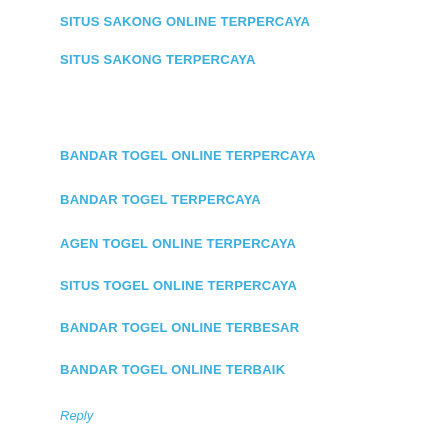SITUS SAKONG ONLINE TERPERCAYA
SITUS SAKONG TERPERCAYA
BANDAR TOGEL ONLINE TERPERCAYA
BANDAR TOGEL TERPERCAYA
AGEN TOGEL ONLINE TERPERCAYA
SITUS TOGEL ONLINE TERPERCAYA
BANDAR TOGEL ONLINE TERBESAR
BANDAR TOGEL ONLINE TERBAIK
Reply